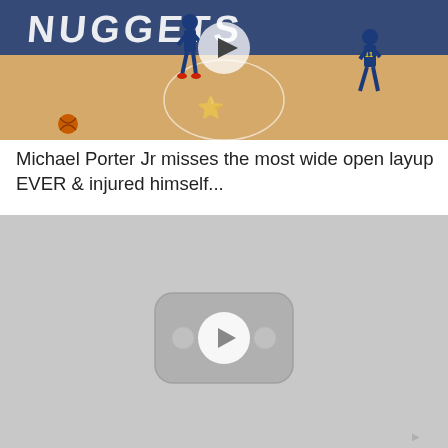[Figure (screenshot): Basketball court screenshot showing NBA Nuggets game, players on court, with a play button overlay in the center]
Michael Porter Jr misses the most wide open layup EVER & injured himself...
[Figure (screenshot): Gray video placeholder with YouTube-style play button icon in the center]